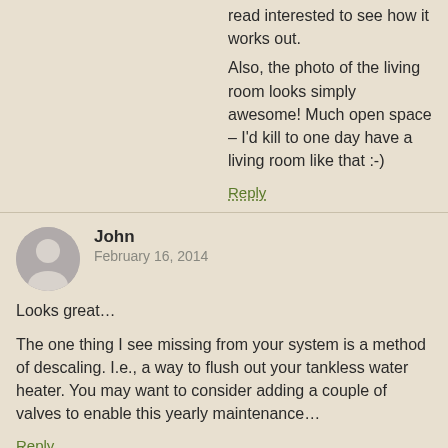read interested to see how it works out.

Also, the photo of the living room looks simply awesome! Much open space – I'd kill to one day have a living room like that :-)
Reply
John
February 16, 2014

Looks great…

The one thing I see missing from your system is a method of descaling. I.e., a way to flush out your tankless water heater. You may want to consider adding a couple of valves to enable this yearly maintenance…
Reply
Roch Naleway
February 17, 2014

MMM has some valves installed. You are right: definitely always install a tankless heater with easy flush valves. Much easier annual service that is required to ensure a long lasting system.